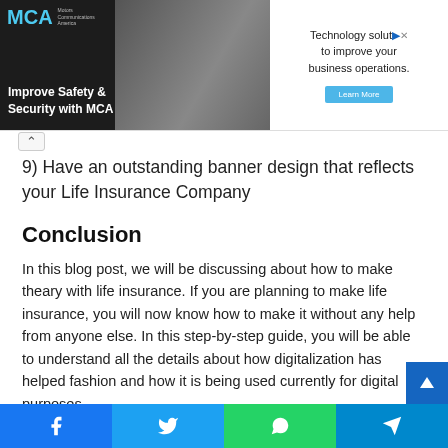[Figure (screenshot): Advertisement banner for MCA (Motor Communications America) showing 'Improve Safety & Security with MCA' on left with dark background and photo, and 'Technology solutions to improve your business operations.' with Learn More button on right side.]
9) Have an outstanding banner design that reflects your Life Insurance Company
Conclusion
In this blog post, we will be discussing about how to make theary with life insurance. If you are planning to make life insurance, you will now know how to make it without any help from anyone else. In this step-by-step guide, you will be able to understand all the details about how digitalization has helped fashion and how it is being used currently for digital purposes.